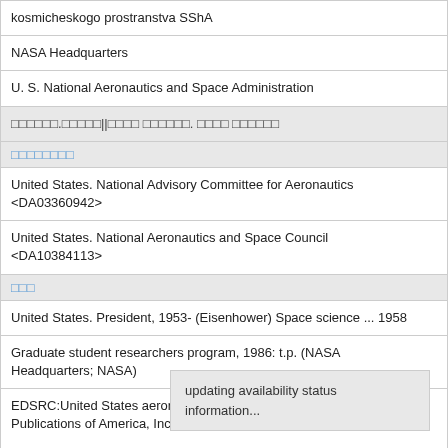kosmicheskogo prostranstva SShA
NASA Headquarters
U. S. National Aeronautics and Space Administration
[non-latin text] [non-latin text]. [non-latin text] [non-latin text]
[non-latin label]
United States. National Advisory Committee for Aeronautics <DA03360942>
United States. National Aeronautics and Space Council <DA10384113>
[non-latin label]
United States. President, 1953- (Eisenhower) Space science ... 1958
Graduate student researchers program, 1986: t.p. (NASA Headquarters; NASA)
EDSRC:United States aeronautics a... Publications of America, Inc., 1986)...
updating availability status information...
[non-latin label] ID [non-latin]